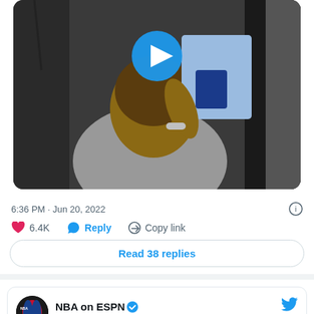[Figure (screenshot): Video thumbnail showing a person (child) from behind, sitting in a vehicle, with a blue play button circle overlay in the upper center of the image.]
6:36 PM · Jun 20, 2022
❤ 6.4K   💬 Reply   🔗 Copy link
Read 38 replies
NBA on ESPN @ESPNNBA · Follow
Dray Jr. used to this 😭